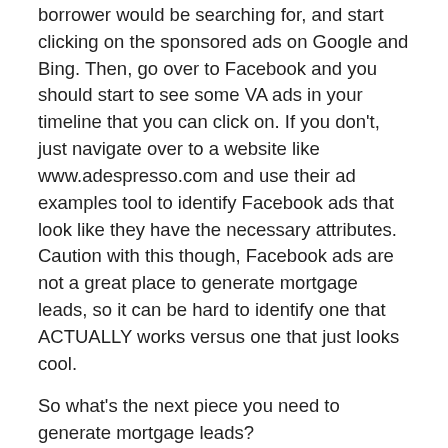borrower would be searching for, and start clicking on the sponsored ads on Google and Bing. Then, go over to Facebook and you should start to see some VA ads in your timeline that you can click on. If you don't, just navigate over to a website like www.adespresso.com and use their ad examples tool to identify Facebook ads that look like they have the necessary attributes. Caution with this though, Facebook ads are not a great place to generate mortgage leads, so it can be hard to identify one that ACTUALLY works versus one that just looks cool.
So what's the next piece you need to generate mortgage leads?
2. An Appropriate Lead Form
This is something that not a lot of conversion rate optimization experts talk about, but your lead form is a